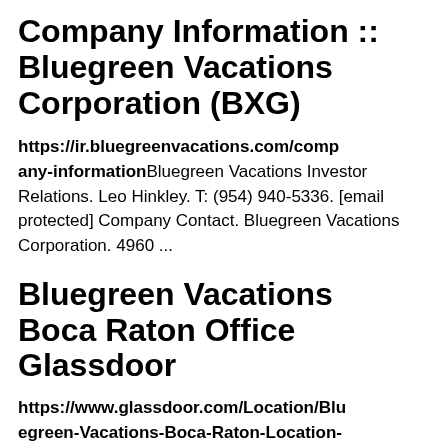Company Information :: Bluegreen Vacations Corporation (BXG)
https://ir.bluegreenvacations.com/company-information Bluegreen Vacations Investor Relations. Leo Hinkley. T: (954) 940-5336. [email protected] Company Contact. Bluegreen Vacations Corporation. 4960 ...
Bluegreen Vacations Boca Raton Office Glassdoor
https://www.glassdoor.com/Location/Bluegreen-Vacations-Boca-Raton-Location-EI_IE6180.0,19.IL.20,29,IG1154152.htm...